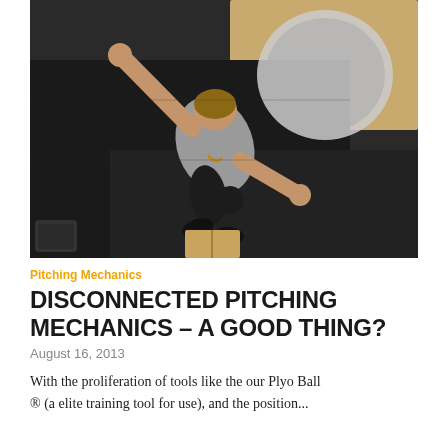[Figure (photo): Overhead/bird's-eye view photo of a baseball pitcher throwing from a black rubber floor mat in a gym setting, wearing a gray t-shirt and black pants, with a circular target on the floor]
Pitching Mechanics
DISCONNECTED PITCHING MECHANICS – A GOOD THING?
August 16, 2013
With the proliferation of tools like the our Plyo Ball ® (a elite training tool for use), and the position...